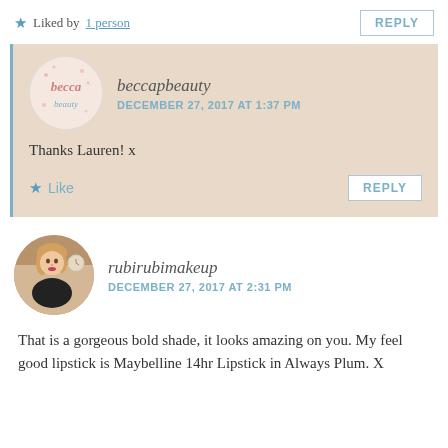★ Liked by 1 person
REPLY
beccapbeauty
DECEMBER 27, 2017 AT 1:37 PM
Thanks Lauren! x
★ Like
REPLY
rubirubimakeup
DECEMBER 27, 2017 AT 2:31 PM
That is a gorgeous bold shade, it looks amazing on you. My feel good lipstick is Maybelline 14hr Lipstick in Always Plum. X